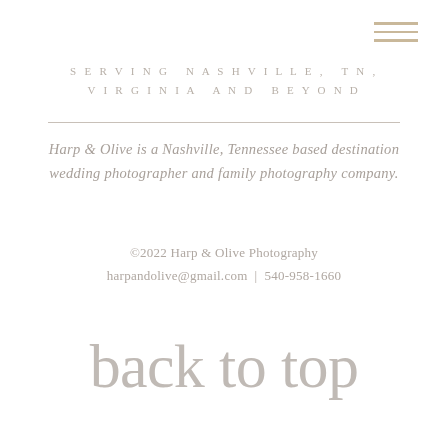[Figure (other): Hamburger menu icon with three horizontal lines in tan/beige color, positioned top right]
SERVING NASHVILLE, TN,
VIRGINIA AND BEYOND
Harp & Olive is a Nashville, Tennessee based destination wedding photographer and family photography company.
©2022 Harp & Olive Photography
harpandolive@gmail.com | 540-958-1660
back to top